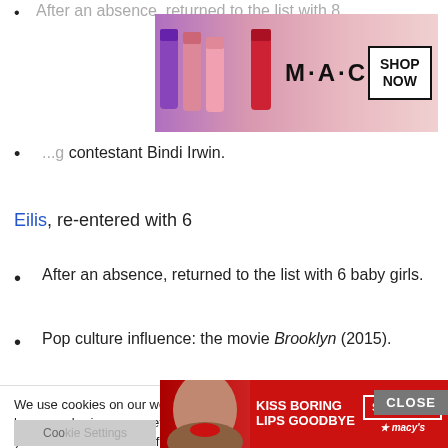After an absence, returned to the list with 8 (partial, cut off)
[Figure (other): MAC Cosmetics advertisement showing colorful lipsticks with SHOP NOW button]
... contestant Bindi Irwin.
Eilis, re-entered with 6
After an absence, returned to the list with 6 baby girls.
Pop culture influence: the movie Brooklyn (2015).
We use cookies on our website to give you the most relevant experience by remembering your preferences and repeat visits. By clicking “Accept”, you consent to the use of ALL the cookies.
Do not sell my personal information.
[Figure (other): Macy's advertisement: KISS BORING LIPS GOODBYE with SHOP NOW button]